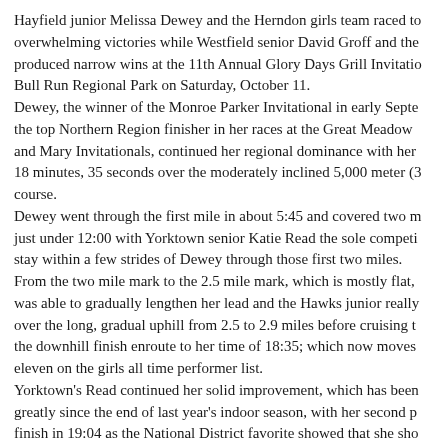Hayfield junior Melissa Dewey and the Herndon girls team raced to overwhelming victories while Westfield senior David Groff and the produced narrow wins at the 11th Annual Glory Days Grill Invitatio Bull Run Regional Park on Saturday, October 11.
Dewey, the winner of the Monroe Parker Invitational in early Septe the top Northern Region finisher in her races at the Great Meadow and Mary Invitationals, continued her regional dominance with her 18 minutes, 35 seconds over the moderately inclined 5,000 meter (3 course.
Dewey went through the first mile in about 5:45 and covered two m just under 12:00 with Yorktown senior Katie Read the sole competi stay within a few strides of Dewey through those first two miles.
From the two mile mark to the 2.5 mile mark, which is mostly flat, was able to gradually lengthen her lead and the Hawks junior really over the long, gradual uphill from 2.5 to 2.9 miles before cruising t the downhill finish enroute to her time of 18:35; which now moves eleven on the girls all time performer list.
Yorktown's Read continued her solid improvement, which has been greatly since the end of last year's indoor season, with her second p finish in 19:04 as the National District favorite showed that she sho factor at the Northern Region and AAA state level.
The Herndon girls team rolled to a very impressive victory, placing runners in the top eleven among the 137 finishers in the varsity see with a low score of 54 points. The Hornets top five scorers were all